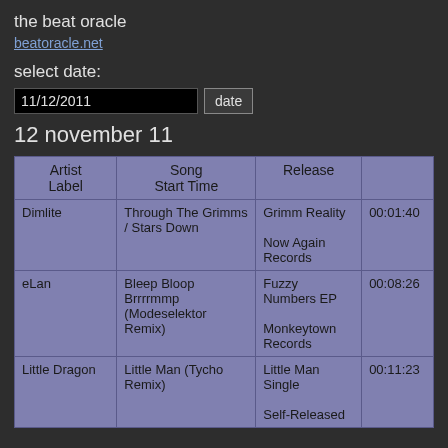the beat oracle
beatoracle.net
select date:
11/12/2011  date
12 november 11
| Artist / Label | Song / Start Time | Release |  |
| --- | --- | --- | --- |
| Dimlite | Through The Grimms / Stars Down | Grimm Reality
Now Again Records | 00:01:40 |
| eLan | Bleep Bloop Brrrrmmp (Modeselektor Remix) | Fuzzy Numbers EP
Monkeytown Records | 00:08:26 |
| Little Dragon | Little Man (Tycho Remix) | Little Man Single
Self-Released | 00:11:23 |